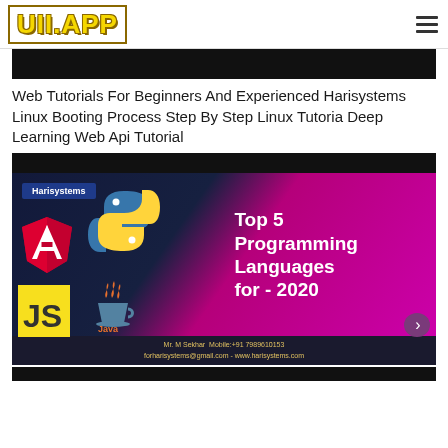UII.APP
[Figure (screenshot): Black banner bar at top of webpage]
Web Tutorials For Beginners And Experienced Harisystems Linux Booting Process Step By Step Linux Tutoria Deep Learning Web Api Tutorial
[Figure (illustration): Harisystems promotional banner showing Top 5 Programming Languages for 2020 with Angular, Python, JavaScript and Java logos on a dark/magenta background. Footer: Mr. M Sekhar Mobile:+91 7989610153 forharisystems@gmail.com - www.harisystems.com]
[Figure (screenshot): Black bar at the bottom of the page]